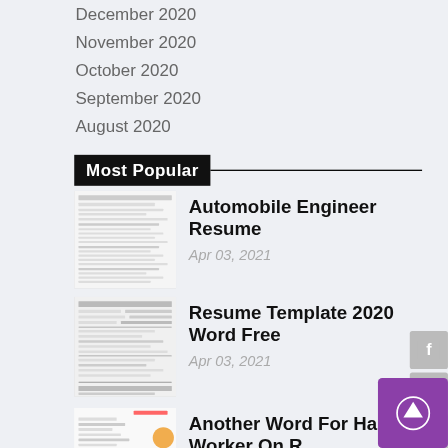December 2020
November 2020
October 2020
September 2020
August 2020
Most Popular
[Figure (screenshot): Thumbnail of Automobile Engineer Resume document]
Automobile Engineer Resume
Apr 03, 2021
[Figure (screenshot): Thumbnail of Resume Template 2020 Word Free document]
Resume Template 2020 Word Free
Apr 03, 2021
[Figure (screenshot): Thumbnail of Another Word For Hard Worker On Resume document]
Another Word For Hard Worker On R...